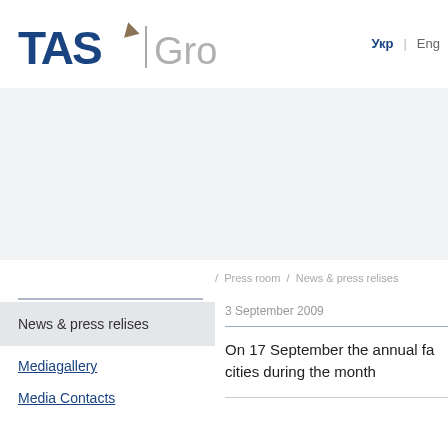[Figure (logo): TAS Group logo with dark blue bold TAS text, decorative accent mark, vertical divider, and gray 'Group' text]
Укр  |  Eng
/ Press room / News & press relises
News & press relises
Mediagallery
Media Contacts
3 September 2009
On 17 September the annual fa... cities during the month